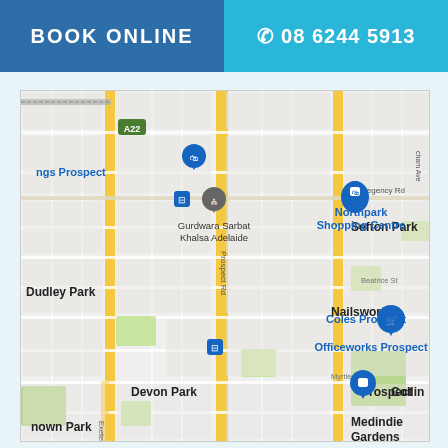BOOK ONLINE
08 6244 5913
[Figure (map): Google Maps view of Prospect suburb in Adelaide, Australia, showing streets including Prospect Rd, Exeter Terrace, Beatrice St, Myrtle St, Regency Rd, and landmarks including Northpark Shopping Centre, Gurdwara Sarbat Khalsa Adelaide, Coles Prospect, Officeworks Prospect, and suburbs: Sefton Park, Nailsworth, Devon Park, Dudley Park, own Park, Collin, Medindie Gardens, ngs Prospect. Route A22 road marker visible.]